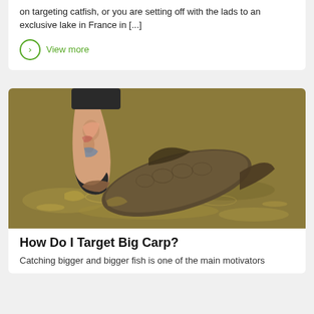on targeting catfish, or you are setting off with the lads to an exclusive lake in France in [...]
View more
[Figure (photo): A person with a tattooed arm holding a large carp fish in shallow, murky brown water, releasing it back into the water.]
How Do I Target Big Carp?
Catching bigger and bigger fish is one of the main motivators